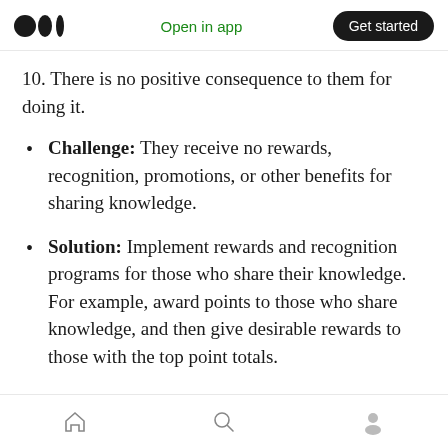Open in app  Get started
10. There is no positive consequence to them for doing it.
Challenge: They receive no rewards, recognition, promotions, or other benefits for sharing knowledge.
Solution: Implement rewards and recognition programs for those who share their knowledge. For example, award points to those who share knowledge, and then give desirable rewards to those with the top point totals.
Home  Search  Profile